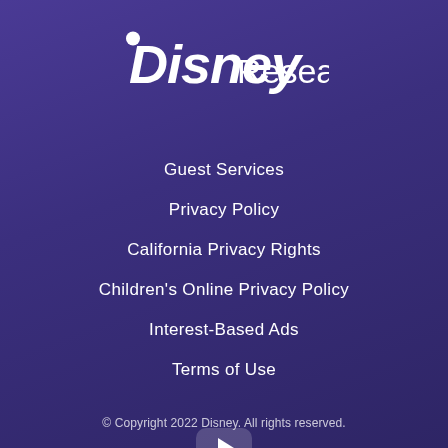[Figure (logo): Disney Research logo with stylized Disney wordmark and 'Research' text in white on purple background]
Guest Services
Privacy Policy
California Privacy Rights
Children's Online Privacy Policy
Interest-Based Ads
Terms of Use
[Figure (other): YouTube play button icon — rounded rectangle with white play triangle]
© Copyright 2022 Disney. All rights reserved.